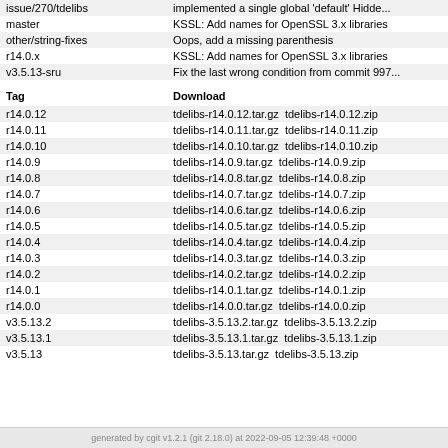| Branch/Tag |  |
| --- | --- |
| issue/270/tdelibs | implemented a single global 'default' Hidde... |
| master | KSSL: Add names for OpenSSL 3.x libraries |
| other/string-fixes | Oops, add a missing parenthesis |
| r14.0.x | KSSL: Add names for OpenSSL 3.x libraries |
| v3.5.13-sru | Fix the last wrong condition from commit 997... |
| Tag | Download |
| r14.0.12 | tdelibs-r14.0.12.tar.gz  tdelibs-r14.0.12.zip |
| r14.0.11 | tdelibs-r14.0.11.tar.gz  tdelibs-r14.0.11.zip |
| r14.0.10 | tdelibs-r14.0.10.tar.gz  tdelibs-r14.0.10.zip |
| r14.0.9 | tdelibs-r14.0.9.tar.gz  tdelibs-r14.0.9.zip |
| r14.0.8 | tdelibs-r14.0.8.tar.gz  tdelibs-r14.0.8.zip |
| r14.0.7 | tdelibs-r14.0.7.tar.gz  tdelibs-r14.0.7.zip |
| r14.0.6 | tdelibs-r14.0.6.tar.gz  tdelibs-r14.0.6.zip |
| r14.0.5 | tdelibs-r14.0.5.tar.gz  tdelibs-r14.0.5.zip |
| r14.0.4 | tdelibs-r14.0.4.tar.gz  tdelibs-r14.0.4.zip |
| r14.0.3 | tdelibs-r14.0.3.tar.gz  tdelibs-r14.0.3.zip |
| r14.0.2 | tdelibs-r14.0.2.tar.gz  tdelibs-r14.0.2.zip |
| r14.0.1 | tdelibs-r14.0.1.tar.gz  tdelibs-r14.0.1.zip |
| r14.0.0 | tdelibs-r14.0.0.tar.gz  tdelibs-r14.0.0.zip |
| v3.5.13.2 | tdelibs-3.5.13.2.tar.gz  tdelibs-3.5.13.2.zip |
| v3.5.13.1 | tdelibs-3.5.13.1.tar.gz  tdelibs-3.5.13.1.zip |
| v3.5.13 | tdelibs-3.5.13.tar.gz  tdelibs-3.5.13.zip |
generated by cgit v1.2.1 (git 2.18.0) at 2022-09-05 12:39:48 +0000